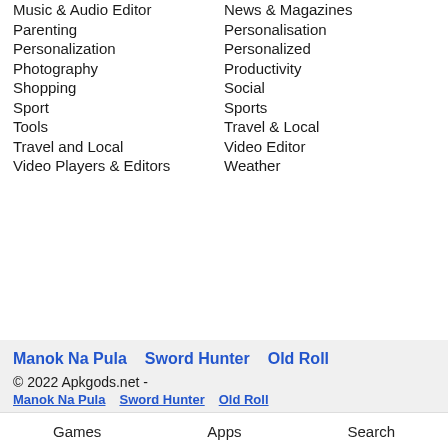Music & Audio Editor
News & Magazines
Parenting
Personalisation
Personalization
Personalized
Photography
Productivity
Shopping
Social
Sport
Sports
Tools
Travel & Local
Travel and Local
Video Editor
Video Players & Editors
Weather
Manok Na Pula  Sword Hunter  Old Roll
© 2022 Apkgods.net -
Manok Na Pula  Sword Hunter  Old Roll
Games  Apps  Search